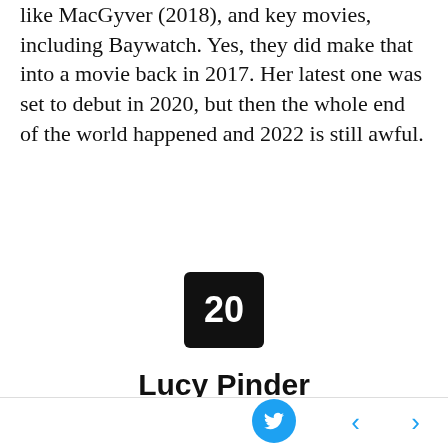modeling and filmography. Has been in music videos, series like MacGyver (2018), and key movies, including Baywatch. Yes, they did make that into a movie back in 2017. Her latest one was set to debut in 2020, but then the whole end of the world happened and 2022 is still awful.
[Figure (other): Black rounded square badge with white bold number 20 centered inside]
Lucy Pinder
[Figure (screenshot): Dark themed web panel showing RedBled logo and username on left, REDGIFS 181K branding on right, with a dark content area and a scroll-up arrow button in bottom right corner]
[Figure (other): White footer navigation bar with cyan Twitter bird icon button, left chevron, and right chevron navigation arrows]